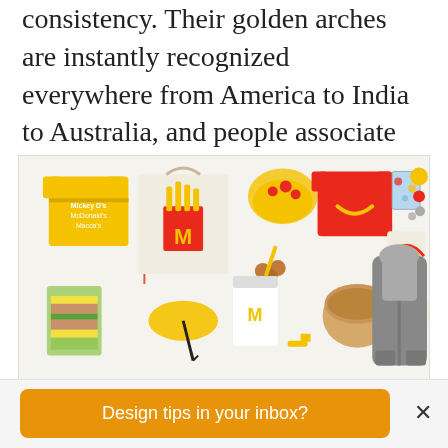consistency. Their golden arches are instantly recognized everywhere from America to India to Australia, and people associate their brand with feeling happy.
[Figure (photo): McDonald's branded merchandise laid out on a white background, including yellow t-shirt, tote bag with fries graphic, socks, red happy meal box t-shirt, notebook, umbrella, cup, beanie, hoodie, and other accessories.]
When a brand is as big as McDonald's, even merchandise without the company's name is instantly recognizable. Via McDonalds.
Design tips in your inbox?